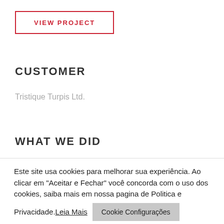VIEW PROJECT
CUSTOMER
Tristique Turpis Ltd.
WHAT WE DID
Este site usa cookies para melhorar sua experiência. Ao clicar em "Aceitar e Fechar" você concorda com o uso dos cookies, saiba mais em nossa pagina de Politica e Privacidade.
Leia Mais
Cookie Configurações
Aceitar e Fechar